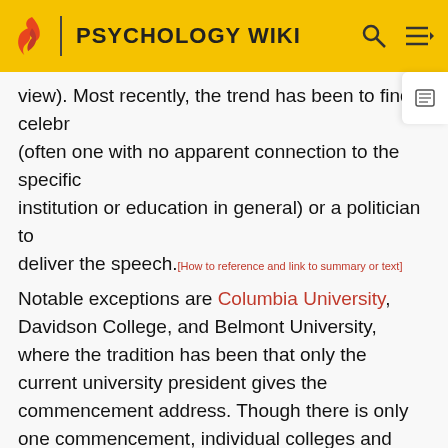PSYCHOLOGY WIKI
view). Most recently, the trend has been to find a celebr (often one with no apparent connection to the specific institution or education in general) or a politician to deliver the speech.[How to reference and link to summary or text]
Notable exceptions are Columbia University, Davidson College, and Belmont University, where the tradition has been that only the current university president gives the commencement address. Though there is only one commencement, individual colleges and schools of Columbia often invite a speaker at separate graduation ceremonies held earlier or on another day, however.
File:UNHGrad.jpg
George H. W. Bush and Bill Clinton speaking at the University of New Hampshire's 2007 commencement